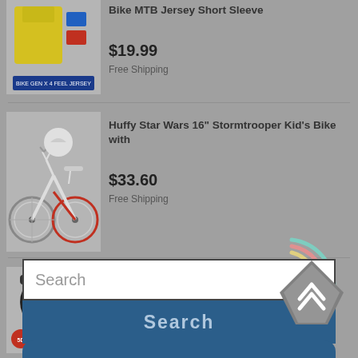[Figure (screenshot): Product listing: Bike MTB Jersey Short Sleeve product image thumbnail]
Bike MTB Jersey Short Sleeve
$19.99
Free Shipping
[Figure (screenshot): Product listing: Huffy Star Wars 16" Stormtrooper Kid's Bike product image]
Huffy Star Wars 16" Stormtrooper Kid's Bike with
$33.60
Free Shipping
[Figure (screenshot): Product listing: 5D Gel Pad Cycling Shorts product image with color variants]
5D Gel Pad Cycling Shorts Men Downhill Underwear MTB
$13.99
[Figure (other): Loading spinner with concentric arcs in teal, pink, and yellow colors]
Search
Search